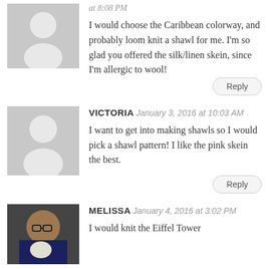at 8:08 PM
I would choose the Caribbean colorway, and probably loom knit a shawl for me. I'm so glad you offered the silk/linen skein, since I'm allergic to wool!
Reply
VICTORIA  January 3, 2016 at 10:03 AM
I want to get into making shawls so I would pick a shawl pattern! I like the pink skein the best.
Reply
MELISSA  January 4, 2016 at 3:02 PM
I would knit the Eiffel Tower